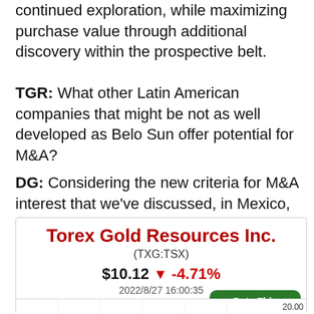continued exploration, while maximizing purchase value through additional discovery within the prospective belt.
TGR: What other Latin American companies that might be not as well developed as Belo Sun offer potential for M&A?
DG: Considering the new criteria for M&A interest that we've discussed, in Mexico,
[Figure (other): Torex Gold Resources Inc. stock widget showing TXG:TSX price of $10.12 down -4.71% as of 2022/8/27 16:00:35, with a line chart showing price history ranging from approximately 15.00 to 20.00, and a Rate This Article button with thumbs up/down icons.]